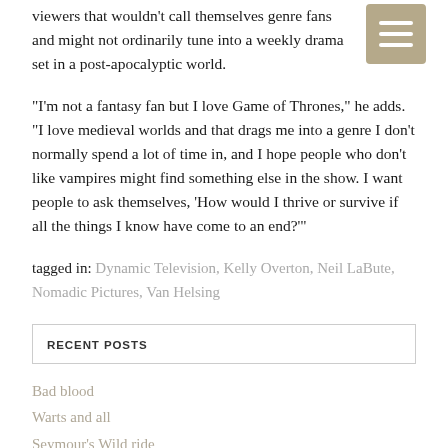viewers that wouldn't call themselves genre fans and might not ordinarily tune into a weekly drama set in a post-apocalyptic world.
“I’m not a fantasy fan but I love Game of Thrones,” he adds. “I love medieval worlds and that drags me into a genre I don’t normally spend a lot of time in, and I hope people who don’t like vampires might find something else in the show. I want people to ask themselves, ‘How would I thrive or survive if all the things I know have come to an end?’”
tagged in: Dynamic Television, Kelly Overton, Neil LaBute, Nomadic Pictures, Van Helsing
RECENT POSTS
Bad blood
Warts and all
Seymour’s Wild ride
Rise to the Throne
Dream team